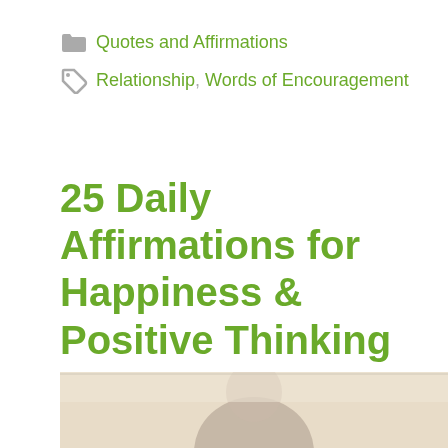Quotes and Affirmations
Relationship, Words of Encouragement
25 Daily Affirmations for Happiness & Positive Thinking
June 30, 2020 by Steve Scott
[Figure (photo): Partial photo of a person, cropped at bottom of page]